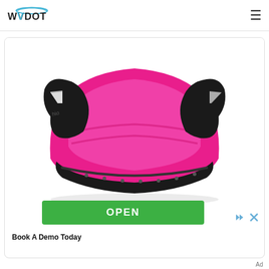WVDOT
[Figure (photo): Pink and black booster car seat product photo on white background]
OPEN
Book A Demo Today
Ad